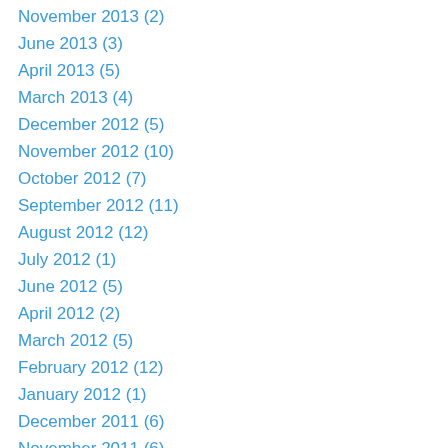November 2013 (2)
June 2013 (3)
April 2013 (5)
March 2013 (4)
December 2012 (5)
November 2012 (10)
October 2012 (7)
September 2012 (11)
August 2012 (12)
July 2012 (1)
June 2012 (5)
April 2012 (2)
March 2012 (5)
February 2012 (12)
January 2012 (1)
December 2011 (6)
November 2011 (6)
October 2011 (16)
September 2011 (24)
August 2011 (3)